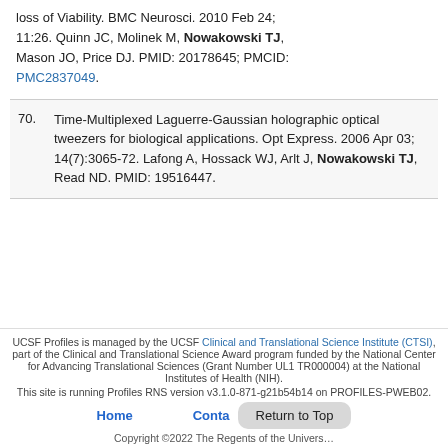loss of Viability. BMC Neurosci. 2010 Feb 24; 11:26. Quinn JC, Molinek M, Nowakowski TJ, Mason JO, Price DJ. PMID: 20178645; PMCID: PMC2837049.
70. Time-Multiplexed Laguerre-Gaussian holographic optical tweezers for biological applications. Opt Express. 2006 Apr 03; 14(7):3065-72. Lafong A, Hossack WJ, Arlt J, Nowakowski TJ, Read ND. PMID: 19516447.
UCSF Profiles is managed by the UCSF Clinical and Translational Science Institute (CTSI), part of the Clinical and Translational Science Award program funded by the National Center for Advancing Translational Sciences (Grant Number UL1 TR000004) at the National Institutes of Health (NIH). This site is running Profiles RNS version v3.1.0-871-g21b54b14 on PROFILES-PWEB02. Home Conta… Return to Top Copyright ©2022 The Regents of the Univers…